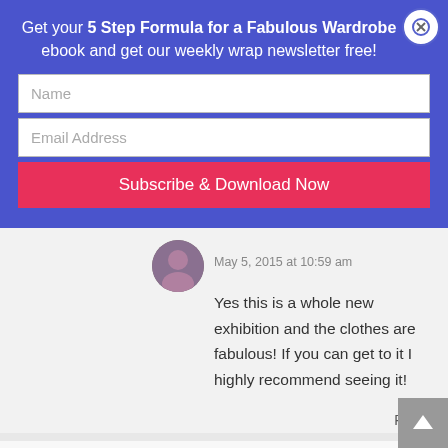Get your 5 Step Formula for a Fabulous Wardrobe ebook and get our weekly wrap newsletter free!
Name
Email Address
Subscribe & Download Now
May 5, 2015 at 10:59 am
Yes this is a whole new exhibition and the clothes are fabulous! If you can get to it I highly recommend seeing it!
Reply
Dina C.